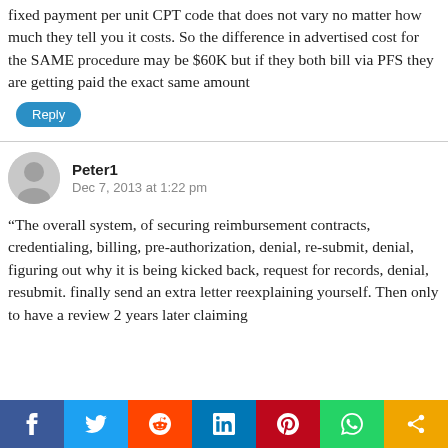fixed payment per unit CPT code that does not vary no matter how much they tell you it costs. So the difference in advertised cost for the SAME procedure may be $60K but if they both bill via PFS they are getting paid the exact same amount
Reply
Peter1
Dec 7, 2013 at 1:22 pm
“The overall system, of securing reimbursement contracts, credentialing, billing, pre-authorization, denial, re-submit, denial, figuring out why it is being kicked back, request for records, denial, resubmit. finally send an extra letter reexplaining yourself. Then only to have a review 2 years later claiming
f  Twitter  Reddit  in  P  WhatsApp  Share